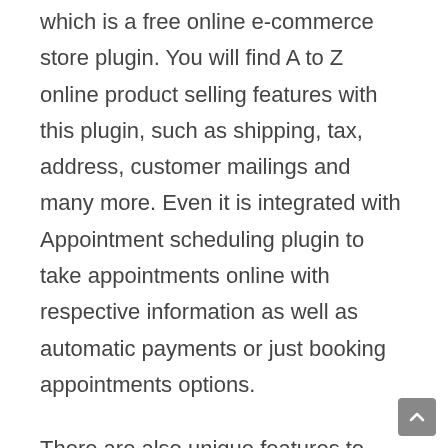which is a free online e-commerce store plugin. You will find A to Z online product selling features with this plugin, such as shipping, tax, address, customer mailings and many more. Even it is integrated with Appointment scheduling plugin to take appointments online with respective information as well as automatic payments or just booking appointments options.
There are also unique features to showcase the artist's portfolio on their profiles by photos and categories. Each gallery will be linked with appropriate sharing option to Facebook, Twitter, Google+, Pinterest and Instagram personal profiles. Artists can also have a dedicated account